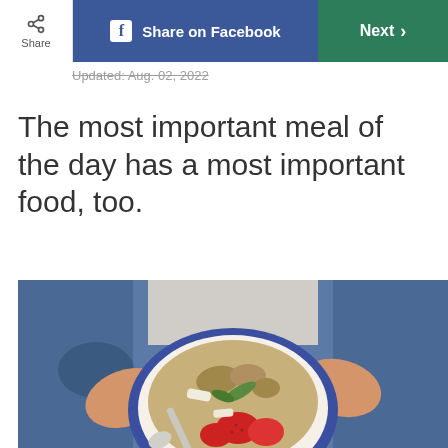Share | Share on Facebook | Next
Updated: Aug. 02, 2022
The most important meal of the day has a most important food, too.
[Figure (photo): Overhead view of a person in jeans holding a blue bowl filled with granola, walnuts, coconut, strawberries, and greens, holding a spoon]